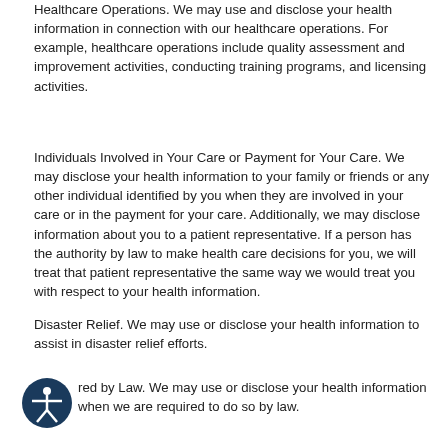Healthcare Operations. We may use and disclose your health information in connection with our healthcare operations. For example, healthcare operations include quality assessment and improvement activities, conducting training programs, and licensing activities.
Individuals Involved in Your Care or Payment for Your Care. We may disclose your health information to your family or friends or any other individual identified by you when they are involved in your care or in the payment for your care. Additionally, we may disclose information about you to a patient representative. If a person has the authority by law to make health care decisions for you, we will treat that patient representative the same way we would treat you with respect to your health information.
Disaster Relief. We may use or disclose your health information to assist in disaster relief efforts.
[Figure (logo): Accessibility icon: dark blue circle with white figure of a person with arms outstretched]
red by Law. We may use or disclose your health mation when we are required to do so by law.